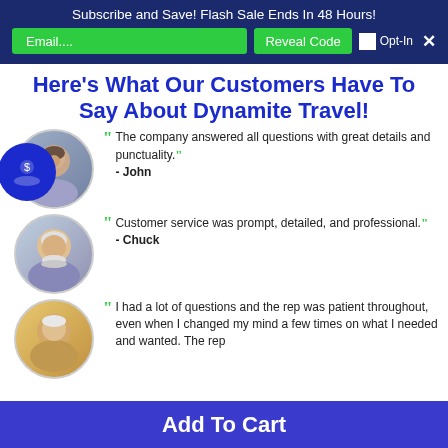Subscribe and Save! Flash Sale Ends In 48 Hours!
Here's What Our Customers Have To Say About Dynamite Travel!
The company answered all questions with great details and punctuality. - John
Customer service was prompt, detailed, and professional. - Chuck
I had a lot of questions and the rep was patient throughout, even when I changed my mind a few times on what I needed and wanted. The rep
Add To Cart